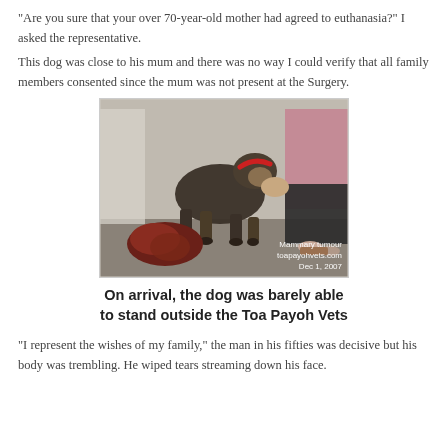"Are you sure that your over 70-year-old mother had agreed to euthanasia?" I asked the representative.
This dog was close to his mum and there was no way I could verify that all family members consented since the mum was not present at the Surgery.
[Figure (photo): A dog standing over a large mammary tumour on the ground, being held by a person. Watermark text reads: Mammary tumour / toapayohvets.com / Dec 1, 2007]
On arrival, the dog was barely able to stand outside the Toa Payoh Vets
"I represent the wishes of my family," the man in his fifties was decisive but his body was trembling. He wiped tears streaming down his face.